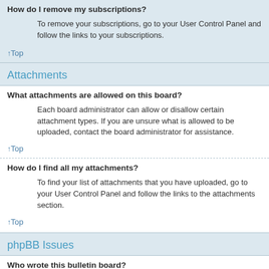How do I remove my subscriptions?
To remove your subscriptions, go to your User Control Panel and follow the links to your subscriptions.
↑Top
Attachments
What attachments are allowed on this board?
Each board administrator can allow or disallow certain attachment types. If you are unsure what is allowed to be uploaded, contact the board administrator for assistance.
↑Top
How do I find all my attachments?
To find your list of attachments that you have uploaded, go to your User Control Panel and follow the links to the attachments section.
↑Top
phpBB Issues
Who wrote this bulletin board?
This software (in its unmodified form) is produced, released and is copyright phpBB Limited. It is made available under the GNU General